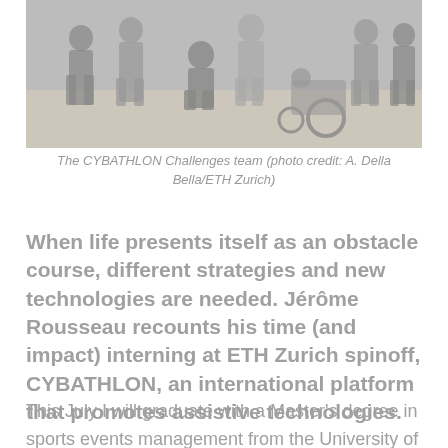[Figure (photo): Group photo of the CYBATHLON Challenges team, multiple people posing in a room with a motorized wheelchair visible.]
The CYBATHLON Challenges team (photo credit: A. Della Bella/ETH Zurich)
When life presents itself as an obstacle course, different strategies and new technologies are needed. Jérôme Rousseau recounts his time (and impact) interning at ETH Zurich spinoff, CYBATHLON, an international platform that promotes assistive technologies.
This July I will graduate with a Master's degree in sports events management from the University of